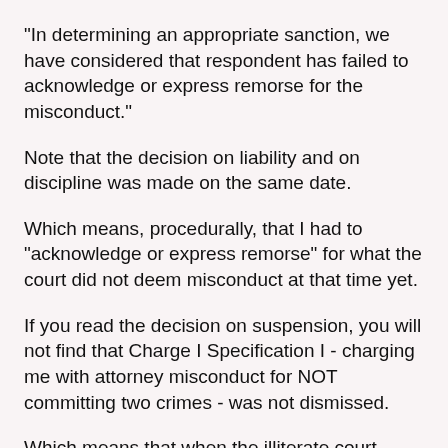"In determining an appropriate sanction, we have considered that respondent has failed to acknowledge or express remorse for the misconduct."
Note that the decision on liability and on discipline was made on the same date.
Which means, procedurally, that I had to "acknowledge or express remorse" for what the court did not deem misconduct at that time yet.
If you read the decision on suspension, you will not find that Charge I Specification I - charging me with attorney misconduct for NOT committing two crimes - was not dismissed.
Which means that when the illiterate court granted to